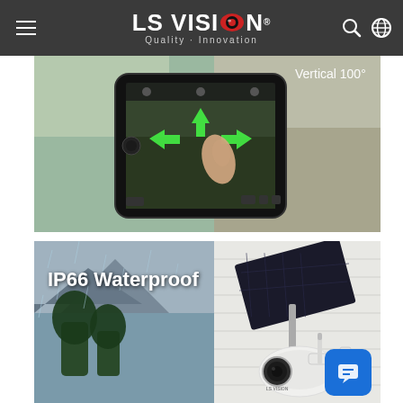LS VISION - Quality · Innovation
[Figure (photo): Hand holding smartphone with directional swipe arrows (up, left, right) on screen, showing camera PTZ control interface. Background shows outdoor patio/garden scene. Text overlay: 'Vertical 100°']
[Figure (photo): Outdoor solar-powered security camera (LS VISION branded) mounted on white siding wall, with rain in background showing mountains and trees. Text overlay: 'IP66 Waterproof']